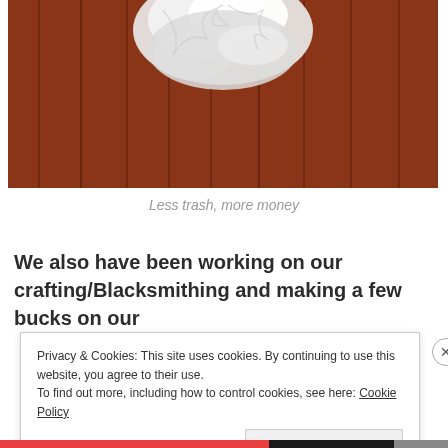[Figure (photo): Photo of crumpled white plastic bags on a reddish-brown wooden deck surface, viewed from above.]
Less trash, more money
We also have been working on our crafting/Blacksmithing and making a few bucks on our
Privacy & Cookies: This site uses cookies. By continuing to use this website, you agree to their use.
To find out more, including how to control cookies, see here: Cookie Policy
[Close and accept]